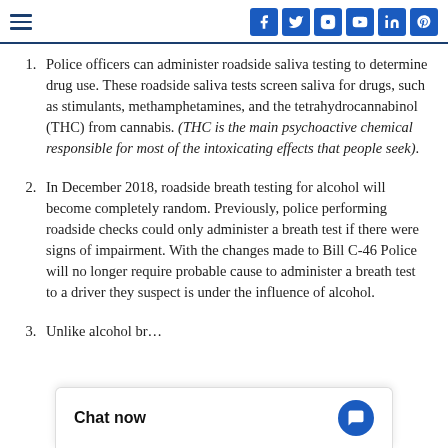Navigation and social media icons (Facebook, Twitter, Instagram, YouTube, LinkedIn, Pinterest)
Police officers can administer roadside saliva testing to determine drug use. These roadside saliva tests screen saliva for drugs, such as stimulants, methamphetamines, and the tetrahydrocannabinol (THC) from cannabis. (THC is the main psychoactive chemical responsible for most of the intoxicating effects that people seek).
In December 2018, roadside breath testing for alcohol will become completely random. Previously, police performing roadside checks could only administer a breath test if there were signs of impairment. With the changes made to Bill C-46 Police will no longer require probable cause to administer a breath test to a driver they suspect is under the influence of alcohol.
Unlike alcohol br…